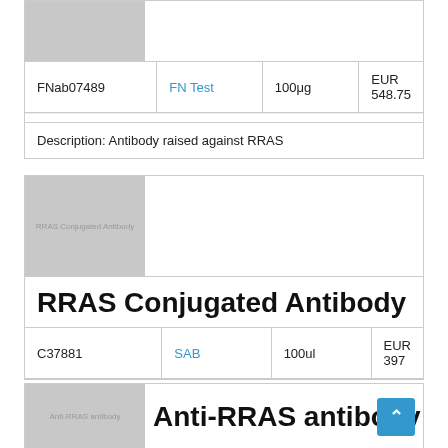[Figure (photo): Partial product image placeholder for first antibody product (top card, cut off at top)]
| Catalog | Supplier | Quantity | Price |
| --- | --- | --- | --- |
| FNab07489 | FN Test | 100μg | EUR 548.75 |
Description: Antibody raised against RRAS
[Figure (photo): Product image placeholder labeled 'RRAS Conjugated Antibody']
RRAS Conjugated Antibody
| Catalog | Supplier | Quantity | Price |
| --- | --- | --- | --- |
| C37881 | SAB | 100ul | EUR 397 |
[Figure (photo): Partial product image placeholder labeled 'Anti-RRAS antibody' (bottom card, cut off)]
Anti-RRAS antibody